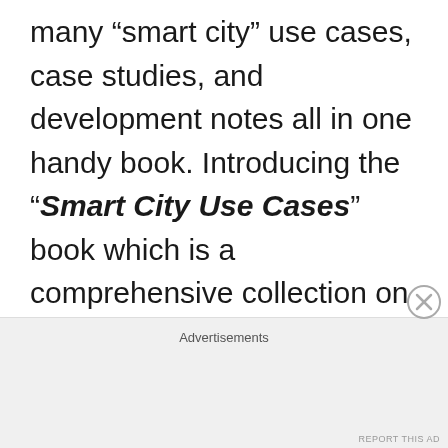many “smart city” use cases, case studies, and development notes all in one handy book. Introducing the “Smart City Use Cases” book which is a comprehensive collection on smart city initiatives that range from transportation to broadband rollouts. It includes the wireless and Wi-Fi builds. It won’t just point out the
Advertisements